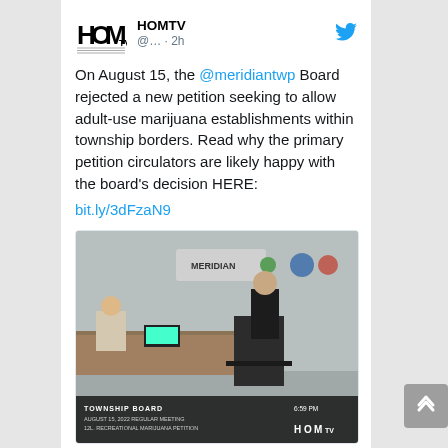[Figure (screenshot): Tweet from HOMTV account with Twitter bird icon, handle @... · 2h, showing text about Meridian Township Board rejecting marijuana petition on August 15, with a link bit.ly/3dFzaN9 and an embedded image of a township board meeting.]
On August 15, the @meridiantwp Board rejected a new petition seeking to allow adult-use marijuana establishments within township borders. Read why the primary petition circulators are likely happy with the board's decision HERE: bit.ly/3dFzaN9